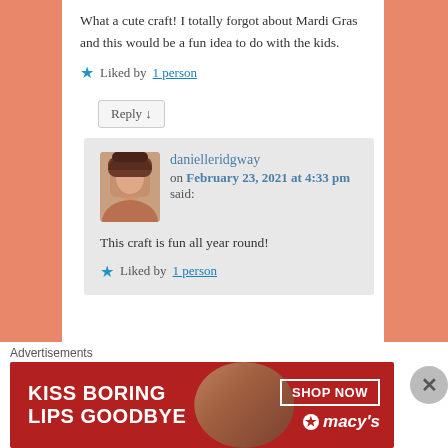What a cute craft! I totally forgot about Mardi Gras and this would be a fun idea to do with the kids.
★ Liked by 1 person
Reply ↓
danielleridgway on February 23, 2021 at 4:33 pm said:
This craft is fun all year round!
★ Liked by 1 person
Advertisements
[Figure (photo): Macy's advertisement banner: KISS BORING LIPS GOODBYE with SHOP NOW button and Macy's logo, featuring a woman's face]